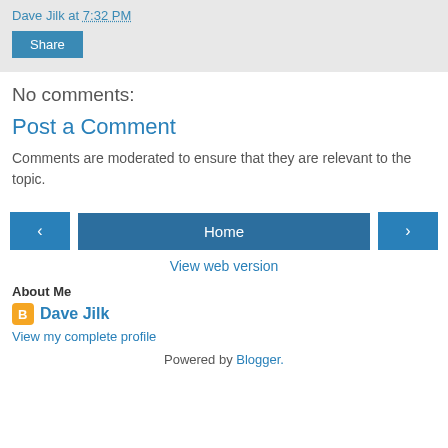Dave Jilk at 7:32 PM
Share
No comments:
Post a Comment
Comments are moderated to ensure that they are relevant to the topic.
‹  Home  ›
View web version
About Me
Dave Jilk
View my complete profile
Powered by Blogger.